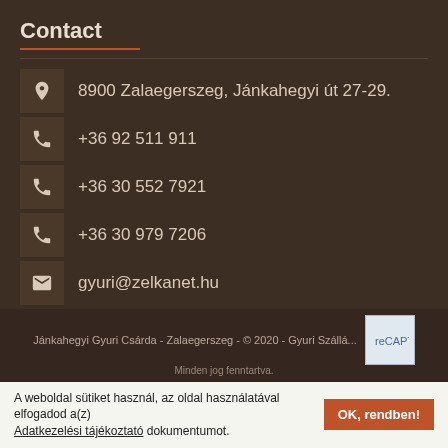Contact
8900 Zalaegerszeg, Jánkahegyi út 27-29.
+36 92 511 911
+36 30 552 7921
+36 30 979 7206
gyuri@zelkanet.hu
GPS: É 46° 49′ 39.18″, K 16° 50′ 20.38″
Facebook
Jánkahegyi Gyuri Csárda - Zalaegerszeg - © 2020 - Gyuri Szállá... Minden jog fenntartva.
A weboldal sütiket használ, az oldal használatával elfogadod a(z) Adatkezelési tájékoztató dokumentumot. OK, rendben!